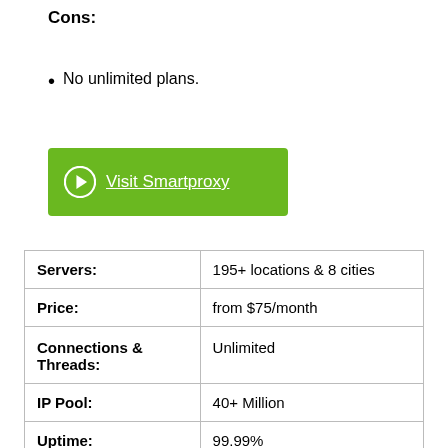Cons:
No unlimited plans.
[Figure (other): Green button with arrow icon and text 'Visit Smartproxy']
| Servers: | 195+ locations & 8 cities |
| Price: | from $75/month |
| Connections & Threads: | Unlimited |
| IP Pool: | 40+ Million |
| Uptime: | 99.99% |